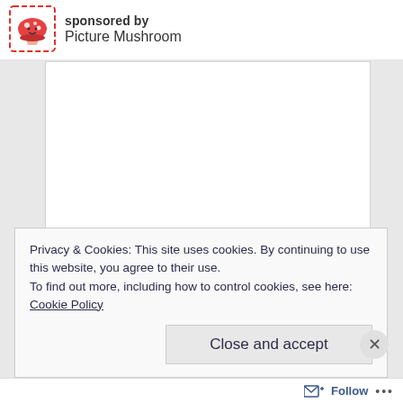sponsored by Picture Mushroom
[Figure (illustration): White rectangular advertisement placeholder box]
Privacy & Cookies: This site uses cookies. By continuing to use this website, you agree to their use.
To find out more, including how to control cookies, see here:
Cookie Policy
Close and accept
Follow ...